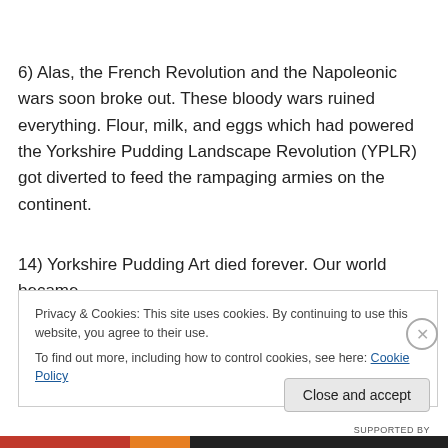6) Alas, the French Revolution and the Napoleonic wars soon broke out. These bloody wars ruined everything. Flour, milk, and eggs which had powered the Yorkshire Pudding Landscape Revolution (YPLR) got diverted to feed the rampaging armies on the continent.
14) Yorkshire Pudding Art died forever. Our world became
Privacy & Cookies: This site uses cookies. By continuing to use this website, you agree to their use.
To find out more, including how to control cookies, see here: Cookie Policy
Close and accept